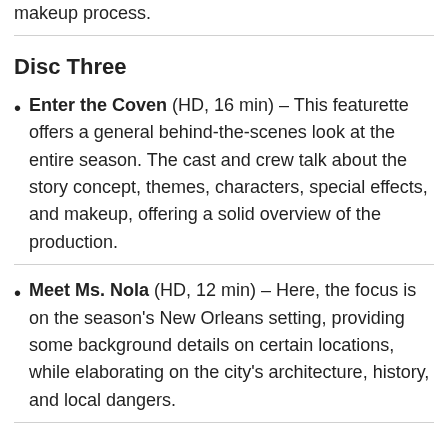makeup process.
Disc Three
Enter the Coven (HD, 16 min) – This featurette offers a general behind-the-scenes look at the entire season. The cast and crew talk about the story concept, themes, characters, special effects, and makeup, offering a solid overview of the production.
Meet Ms. Nola (HD, 12 min) – Here, the focus is on the season's New Orleans setting, providing some background details on certain locations, while elaborating on the city's architecture, history, and local dangers.